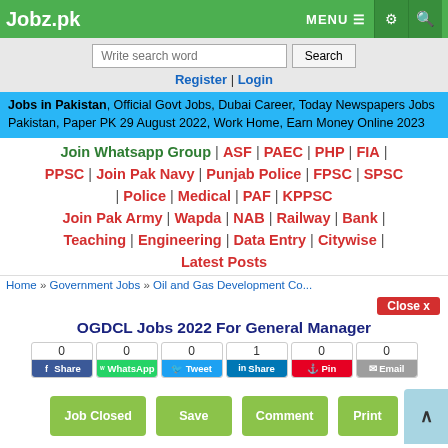Jobz.pk | MENU ☰ ⚙ 🔍
Write search word | Search
Register | Login
Jobs in Pakistan, Official Govt Jobs, Dubai Career, Today Newspapers Jobs Pakistan, Paper PK 29 August 2022, Work Home, Earn Money Online 2023
Join Whatsapp Group | ASF | PAEC | PHP | FIA | PPSC | Join Pak Navy | Punjab Police | FPSC | SPSC | Police | Medical | PAF | KPPSC | Join Pak Army | Wapda | NAB | Railway | Bank | Teaching | Engineering | Data Entry | Citywise | Latest Posts
Home » Government Jobs » Oil and Gas Development Co...
OGDCL Jobs 2022 For General Manager
0 Share | 0 WhatsApp | 0 Tweet | 1 Share | 0 Pin | 0 Email
Job Closed | Save | Comment | Print
Close x